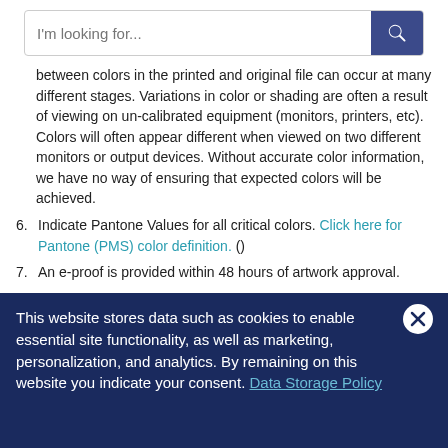I'm looking for...
between colors in the printed and original file can occur at many different stages. Variations in color or shading are often a result of viewing on un-calibrated equipment (monitors, printers, etc). Colors will often appear different when viewed on two different monitors or output devices. Without accurate color information, we have no way of ensuring that expected colors will be achieved.
6. Indicate Pantone Values for all critical colors. Click here for Pantone (PMS) color definition. ()
7. An e-proof is provided within 48 hours of artwork approval.
Process
This website stores data such as cookies to enable essential site functionality, as well as marketing, personalization, and analytics. By remaining on this website you indicate your consent. Data Storage Policy